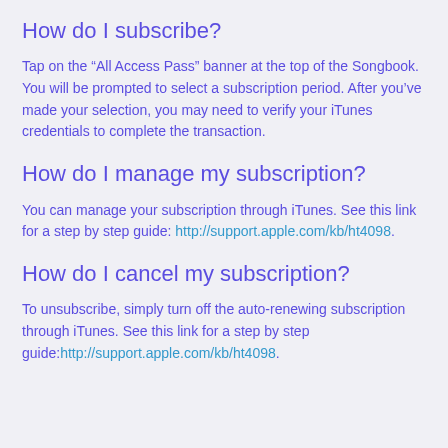How do I subscribe?
Tap on the “All Access Pass” banner at the top of the Songbook. You will be prompted to select a subscription period. After you’ve made your selection, you may need to verify your iTunes credentials to complete the transaction.
How do I manage my subscription?
You can manage your subscription through iTunes. See this link for a step by step guide: http://support.apple.com/kb/ht4098.
How do I cancel my subscription?
To unsubscribe, simply turn off the auto-renewing subscription through iTunes. See this link for a step by step guide:http://support.apple.com/kb/ht4098.